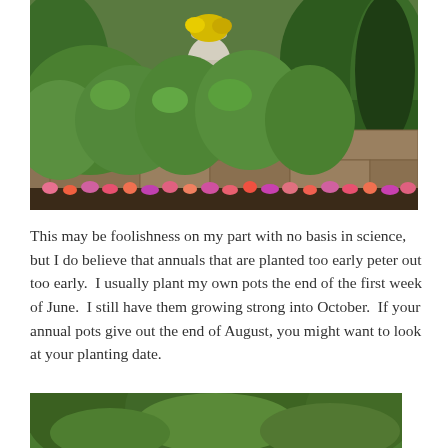[Figure (photo): Garden scene with lush green ivy and climbing plants covering a stone wall, a white ornamental urn planter on a pedestal with yellow flowers, pink and orange impatiens blooming along the base, and evergreen trees in the background.]
This may be foolishness on my part with no basis in science, but I do believe that annuals that are planted too early peter out too early.  I usually plant my own pots the end of the first week of June.  I still have them growing strong into October.  If your annual pots give out the end of August, you might want to look at your planting date.
[Figure (photo): Partial view of a garden with trees, partially cut off at the bottom of the page.]